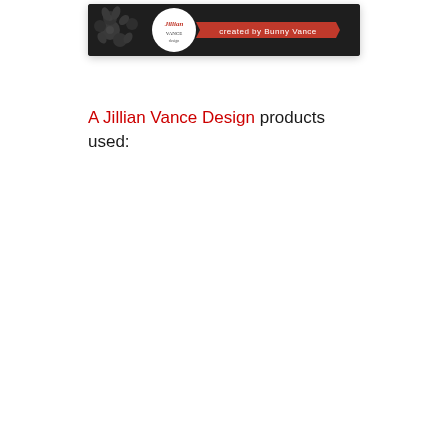[Figure (logo): A Jillian Vance Design banner/header image with dark background, floral design on left, circular logo in center, red ribbon reading 'created by Bunny Vance']
A Jillian Vance Design products used: